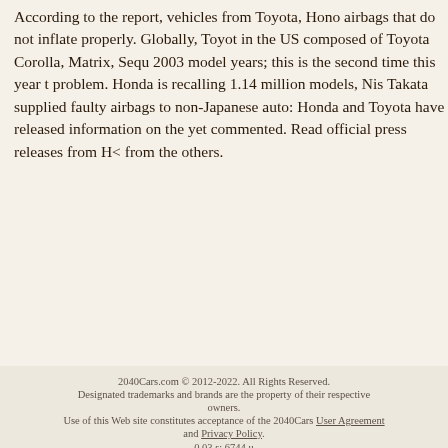According to the report, vehicles from Toyota, Honda, and others have airbags that do not inflate properly. Globally, Toyota is recalling vehicles in the US composed of Toyota Corolla, Matrix, Sequoia and other 2001-2003 model years; this is the second time this year they faced this problem. Honda is recalling 1.14 million models, Nissan and others. Takata supplied faulty airbags to non-Japanese automakers as well. Honda and Toyota have released information on the recall but others have yet commented. Read official press releases from Honda and Toyota and from the others.
[Figure (logo): Footer bar with three 2040 branded logos (2040 Motos, 2040 Cars, 2040 Parts) on dark brown background, with navigation links and email input on the right]
2040Cars.com © 2012-2022. All Rights Reserved.
Designated trademarks and brands are the property of their respective owners.
Use of this Web site constitutes acceptance of the 2040Cars User Agreement and Privacy Policy.
0.03 s; 6744 u